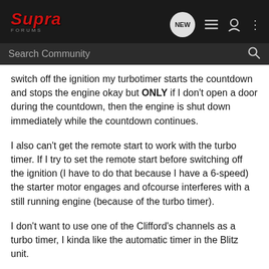Supra Forums — NEW | Search Community
switch off the ignition my turbotimer starts the countdown and stops the engine okay but ONLY if I don't open a door during the countdown, then the engine is shut down immediately while the countdown continues.
I also can't get the remote start to work with the turbo timer. If I try to set the remote start before switching off the ignition (I have to do that because I have a 6-speed) the starter motor engages and ofcourse interferes with a still running engine (because of the turbo timer).
I don't want to use one of the Clifford's channels as a turbo timer, I kinda like the automatic timer in the Blitz unit.
Any help (Thomas Kenyon?) would be greatly appreciated.